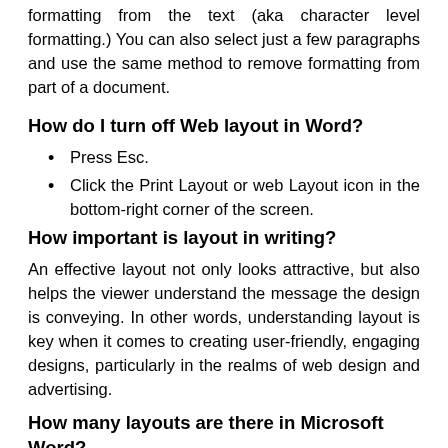formatting from the text (aka character level formatting.) You can also select just a few paragraphs and use the same method to remove formatting from part of a document.
How do I turn off Web layout in Word?
Press Esc.
Click the Print Layout or web Layout icon in the bottom-right corner of the screen.
How important is layout in writing?
An effective layout not only looks attractive, but also helps the viewer understand the message the design is conveying. In other words, understanding layout is key when it comes to creating user-friendly, engaging designs, particularly in the realms of web design and advertising.
How many layouts are there in Microsoft Word?